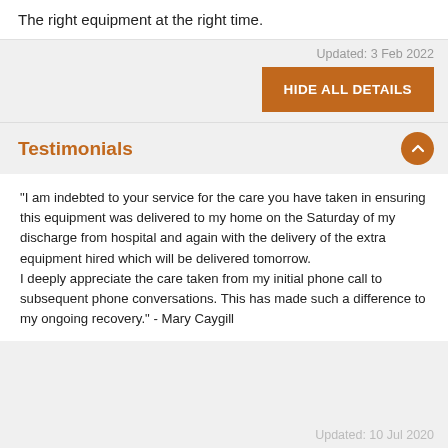The right equipment at the right time.
Updated: 3 Feb 2022
HIDE ALL DETAILS
Testimonials
“I am indebted to your service for the care you have taken in ensuring this equipment was delivered to my home on the Saturday of my discharge from hospital and again with the delivery of the extra equipment hired which will be delivered tomorrow.
I deeply appreciate the care taken from my initial phone call to subsequent phone conversations. This has made such a difference to my ongoing recovery.” - Mary Caygill
Updated: 10 Jul 2020